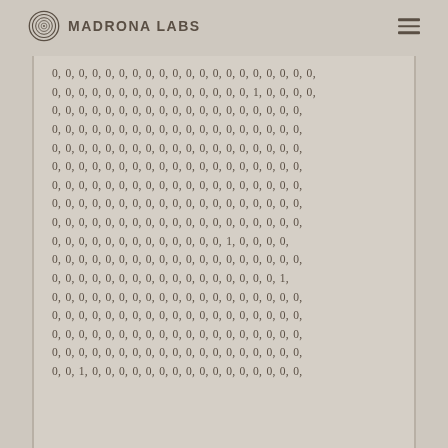Madrona Labs
0, 0, 0, 0, 0, 0, 0, 0, 0, 0, 0, 0, 0, 0, 0, 0, 0, 0, 0, 0,
0, 0, 0, 0, 0, 0, 0, 0, 0, 0, 0, 0, 0, 0, 0, 1, 0, 0, 0,
0, 0, 0, 0, 0, 0, 0, 0, 0, 0, 0, 0, 0, 0, 0, 0, 0, 0, 0,
0, 0, 0, 0, 0, 0, 0, 0, 0, 0, 0, 0, 0, 0, 0, 0, 0, 0, 0,
0, 0, 0, 0, 0, 0, 0, 0, 0, 0, 0, 0, 0, 0, 0, 0, 0, 0, 0,
0, 0, 0, 0, 0, 0, 0, 0, 0, 0, 0, 0, 0, 0, 0, 0, 0, 0, 0,
0, 0, 0, 0, 0, 0, 0, 0, 0, 0, 0, 0, 0, 0, 0, 0, 0, 0, 0,
0, 0, 0, 0, 0, 0, 0, 0, 0, 0, 0, 0, 0, 0, 0, 0, 0, 0, 0,
0, 0, 0, 0, 0, 0, 0, 0, 0, 0, 0, 0, 0, 0, 0, 0, 0, 0, 0,
0, 0, 0, 0, 0, 0, 0, 0, 0, 0, 0, 0, 0, 1, 0, 0, 0, 0,
0, 0, 0, 0, 0, 0, 0, 0, 0, 0, 0, 0, 0, 0, 0, 0, 0, 0, 0,
0, 0, 0, 0, 0, 0, 0, 0, 0, 0, 0, 0, 0, 0, 0, 0, 0, 1,
0, 0, 0, 0, 0, 0, 0, 0, 0, 0, 0, 0, 0, 0, 0, 0, 0, 0, 0,
0, 0, 0, 0, 0, 0, 0, 0, 0, 0, 0, 0, 0, 0, 0, 0, 0, 0, 0,
0, 0, 0, 0, 0, 0, 0, 0, 0, 0, 0, 0, 0, 0, 0, 0, 0, 0, 0,
0, 0, 0, 0, 0, 0, 0, 0, 0, 0, 0, 0, 0, 0, 0, 0, 0, 0, 0,
0, 0, 1, 0, 0, 0, 0, 0, 0, 0, 0, 0, 0, 0, 0, 0, 0, 0,